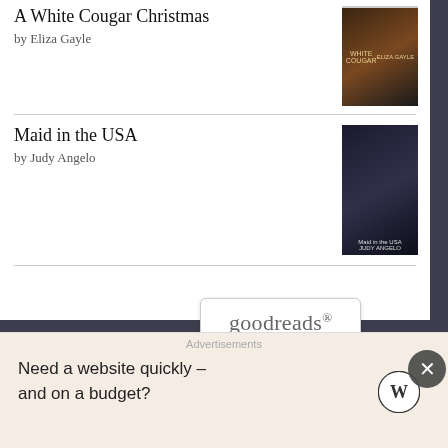A White Cougar Christmas
by Eliza Gayle
Maid in the USA
by Judy Angelo
[Figure (logo): goodreads logo button]
Follow me on Twitter
My Tweets
Follow Us
Advertisements
Need a website quickly – and on a budget?